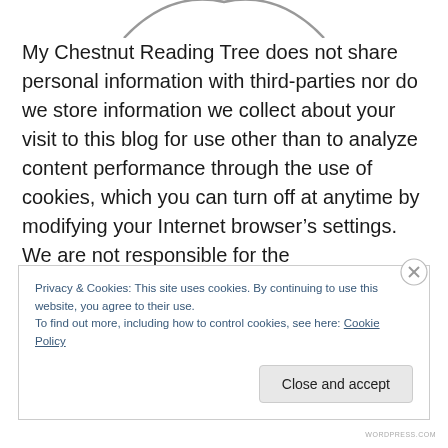[Figure (logo): Partial view of a circular logo/emblem at the top center of the page, only the bottom arc is visible]
My Chestnut Reading Tree does not share personal information with third-parties nor do we store information we collect about your visit to this blog for use other than to analyze content performance through the use of cookies, which you can turn off at anytime by modifying your Internet browser’s settings. We are not responsible for the
Privacy & Cookies: This site uses cookies. By continuing to use this website, you agree to their use.
To find out more, including how to control cookies, see here: Cookie Policy
Close and accept